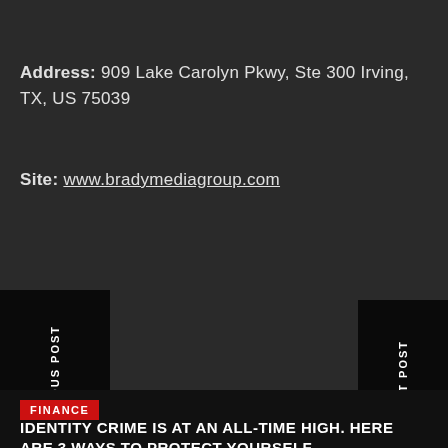Address: 909 Lake Carolyn Pkwy, Ste 300 Irving, TX, US 75039
Site: www.bradymediagroup.com
PREVIOUS POST
NEXT POST
FINANCE
IDENTITY CRIME IS AT AN ALL-TIME HIGH. HERE ARE 3 WAYS TO PROTECT YOURSELF